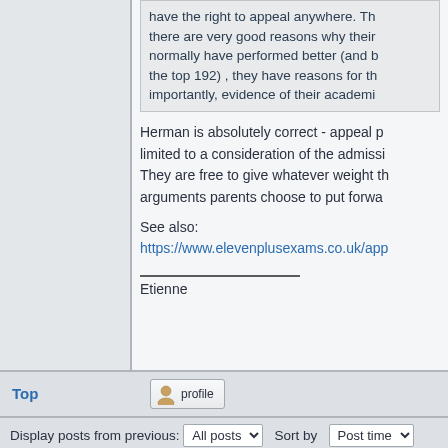have the right to appeal anywhere. There are very good reasons why their normally have performed better (and the top 192) , they have reasons for th importantly, evidence of their academi
Herman is absolutely correct - appeal p limited to a consideration of the admissi They are free to give whatever weight t arguments parents choose to put forwa
See also:
https://www.elevenplusexams.co.uk/app
Etienne
Top
[Figure (screenshot): Profile button with user icon]
Display posts from previous: All posts   Sort by  Post time
Ascending   Go